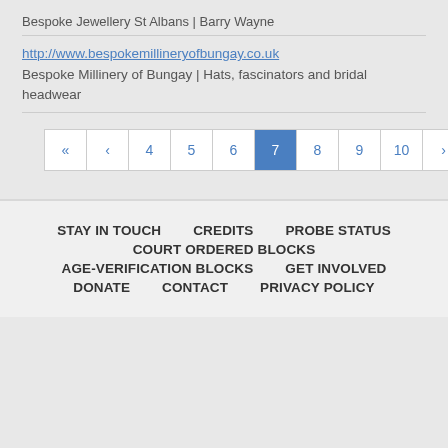Bespoke Jewellery St Albans | Barry Wayne
http://www.bespokemillineryofbungay.co.uk
Bespoke Millinery of Bungay | Hats, fascinators and bridal headwear
« ‹ 4 5 6 7 8 9 10 › »
STAY IN TOUCH   CREDITS   PROBE STATUS   COURT ORDERED BLOCKS   AGE-VERIFICATION BLOCKS   GET INVOLVED   DONATE   CONTACT   PRIVACY POLICY